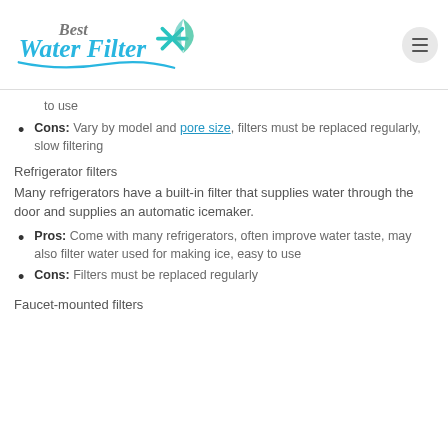[Figure (logo): Best Water Filter logo with blue wave and teal star/asterisk graphic]
to use
Cons: Vary by model and pore size, filters must be replaced regularly, slow filtering
Refrigerator filters
Many refrigerators have a built-in filter that supplies water through the door and supplies an automatic icemaker.
Pros: Come with many refrigerators, often improve water taste, may also filter water used for making ice, easy to use
Cons: Filters must be replaced regularly
Faucet-mounted filters